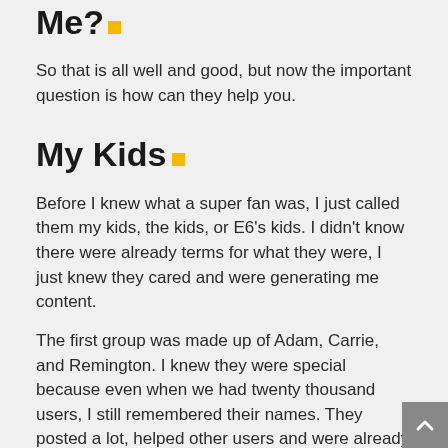That's Nice. What About Me?.
So that is all well and good, but now the important question is how can they help you.
My Kids .
Before I knew what a super fan was, I just called them my kids, the kids, or E6's kids. I didn't know there were already terms for what they were, I just knew they cared and were generating me content.
The first group was made up of Adam, Carrie, and Remington. I knew they were special because even when we had twenty thousand users, I still remembered their names. They posted a lot, helped other users and were already creating culture on the site without prompting, so I reached out to them.